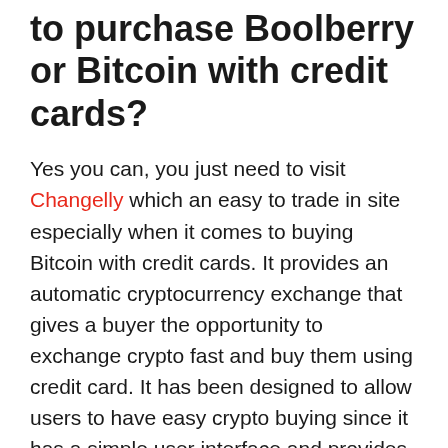to purchase Boolberry or Bitcoin with credit cards?
Yes you can, you just need to visit Changelly which an easy to trade in site especially when it comes to buying Bitcoin with credit cards. It provides an automatic cryptocurrency exchange that gives a buyer the opportunity to exchange crypto fast and buy them using credit card. It has been designed to allow users to have easy crypto buying since it has a simple user interface and provides instructions that are easy to follow too.
About Boolberry (BBR)
Boolberry (BBR) is a cryptocurrency. Users